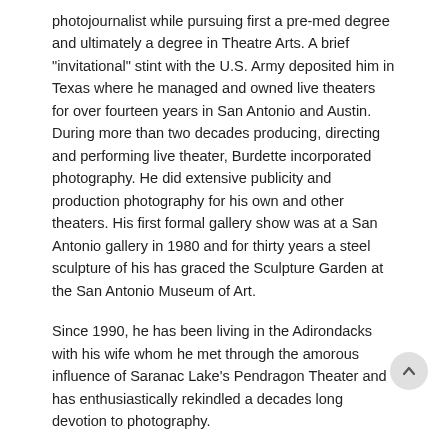photojournalist while pursuing first a pre-med degree and ultimately a degree in Theatre Arts. A brief "invitational" stint with the U.S. Army deposited him in Texas where he managed and owned live theaters for over fourteen years in San Antonio and Austin. During more than two decades producing, directing and performing live theater, Burdette incorporated photography. He did extensive publicity and production photography for his own and other theaters. His first formal gallery show was at a San Antonio gallery in 1980 and for thirty years a steel sculpture of his has graced the Sculpture Garden at the San Antonio Museum of Art.
Since 1990, he has been living in the Adirondacks with his wife whom he met through the amorous influence of Saranac Lake's Pendragon Theater and has enthusiastically rekindled a decades long devotion to photography.
The transition from film to digital photography happened for